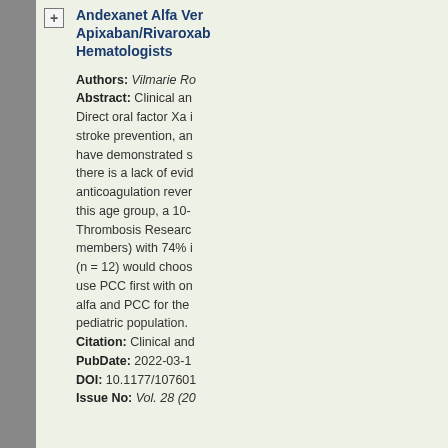Andexanet Alfa Ver Apixaban/Rivaroxaban Hematologists
Authors: Vilmarie Ro Abstract: Clinical and Direct oral factor Xa inhibitors stroke prevention, and have demonstrated s there is a lack of evidence anticoagulation reve this age group, a 10- Thrombosis Research members) with 74% (n=12) would choos use PCC first with on alfa and PCC for the pediatric population. Citation: Clinical and PubDate: 2022-03-1 DOI: 10.1177/107601 Issue No: Vol. 28 (20
Direct Oral Anticoag Thromboembolism:
Authors: Rodrigo Ab Maus, Kenny Galvez Costa Santini, Luis C Abstract: Clinical and Venous thrombo...